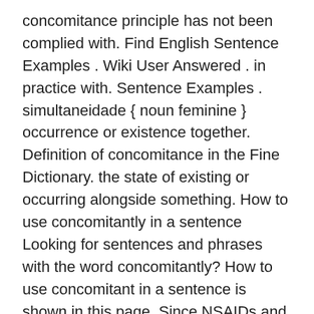concomitance principle has not been complied with. Find English Sentence Examples . Wiki User Answered . in practice with. Sentence Examples . simultaneidade { noun feminine } occurrence or existence together. Definition of concomitance in the Fine Dictionary. the state of existing or occurring alongside something. How to use concomitantly in a sentence Looking for sentences and phrases with the word concomitantly? How to use concomitant in a sentence is shown in this page. Since NSAIDs and pioglitazone are associated with fluid retention, concomitant administration of NSAIDs and Competact may increase the risk of edema. n. One that occurs or exists concurrently with another. The Roman Catholic doctrine of the existence of the entire body of Christ in the Eucharist, under each element, so that the body and blood are both received by communication in one kind only. Sentence examples for in concomitance with from inspiring English sources. Life and death are in concomitance, since there can be no death unless life … Concomitance of the reality of the